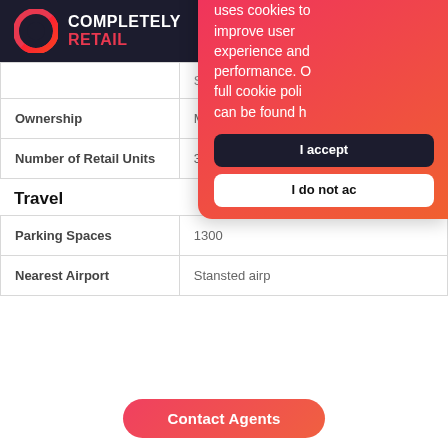COMPLETELY RETAIL
|  |  |
| --- | --- |
|  | Superdry & JD Sports |
| Ownership | M&G Real Estate, Scottish Amicable. |
| Number of Retail Units | 35 |
Travel
|  |  |
| --- | --- |
| Parking Spaces | 1300 |
| Nearest Airport | Stansted airp... |
Completely Retail uses cookies to improve user experience and performance. Our full cookie policy can be found here.
I accept
I do not accept
Contact Agents